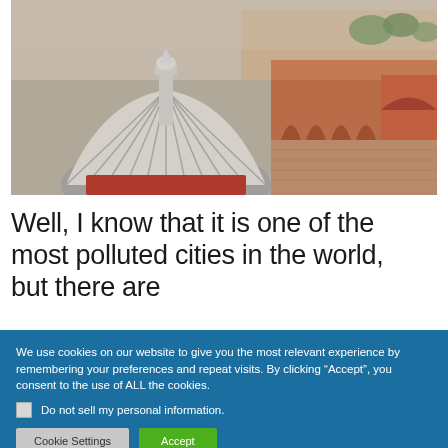[Figure (photo): Aerial view of a large mosque with a white ribbed dome and minarets, with a vast courtyard and red sandstone buildings visible in the background, likely Jama Masjid in Delhi, India.]
Well, I know that it is one of the most polluted cities in the world, but there are
We use cookies on our website to give you the most relevant experience by remembering your preferences and repeat visits. By clicking “Accept”, you consent to the use of ALL the cookies.
☐ Do not sell my personal information.
[Cookie Settings] [Accept]